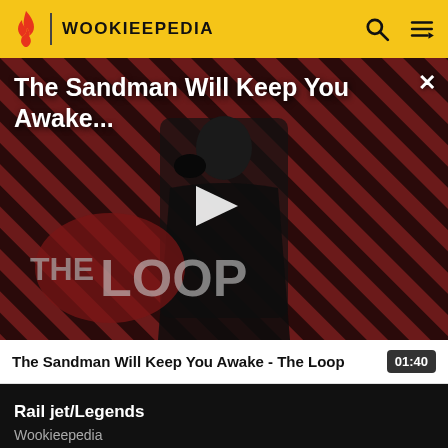WOOKIEEPEDIA
[Figure (screenshot): Video thumbnail for 'The Sandman Will Keep You Awake - The Loop' showing a dark figure in a black robe against a red and black diagonal striped background with THE LOOP logo text visible. A white play button triangle is centered on the image. Title text overlaid at top: 'The Sandman Will Keep You Awake...' with a close (X) button.]
The Sandman Will Keep You Awake - The Loop   01:40
Rail jet/Legends
Wookieepedia